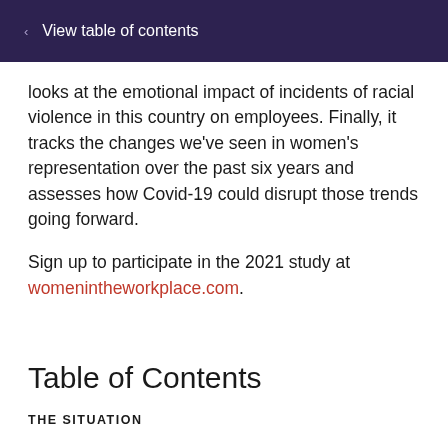View table of contents
looks at the emotional impact of incidents of racial violence in this country on employees. Finally, it tracks the changes we've seen in women's representation over the past six years and assesses how Covid-19 could disrupt those trends going forward.
Sign up to participate in the 2021 study at womenintheworkplace.com.
Table of Contents
THE SITUATION